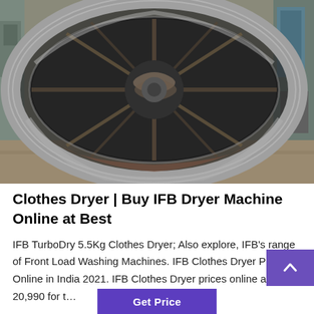[Figure (photo): Photograph of an industrial rotary dryer drum viewed from the front opening, showing internal fins/lifters and a spiral conveyor at the center. The drum is large, metallic, and situated in an industrial workshop with equipment visible in the background.]
Clothes Dryer | Buy IFB Dryer Machine Online at Best
IFB TurboDry 5.5Kg Clothes Dryer; Also explore, IFB's range of Front Load Washing Machines. IFB Clothes Dryer Price Online in India 2021. IFB Clothes Dryer prices online are Rs. 20,990 for t…